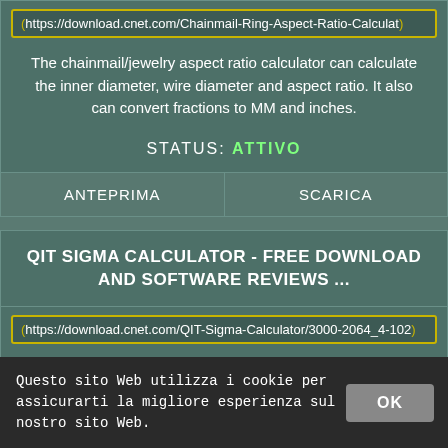https://download.cnet.com/Chainmail-Ring-Aspect-Ratio-Calculat…
The chainmail/jewelry aspect ratio calculator can calculate the inner diameter, wire diameter and aspect ratio. It also can convert fractions to MM and inches.
STATUS: ATTIVO
ANTEPRIMA
SCARICA
QIT SIGMA CALCULATOR - FREE DOWNLOAD AND SOFTWARE REVIEWS ...
https://download.cnet.com/QIT-Sigma-Calculator/3000-2064_4-102…
Login Join . CNET News Best Apps ... QIT Sigma Calculator. QIT Sigma Calculator. Free to try QIT Consulting Windows Vista/Server 2008/7/8/10 Version 17.5 Full Specs .
Questo sito Web utilizza i cookie per assicurarti la migliore esperienza sul nostro sito Web.